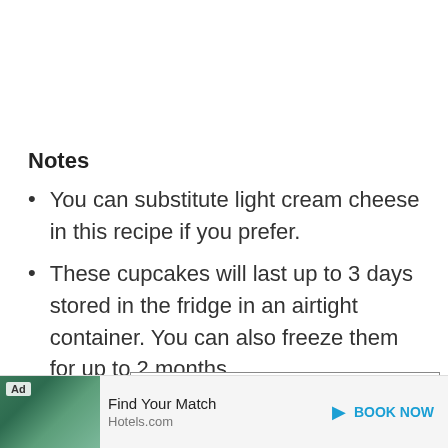Notes
You can substitute light cream cheese in this recipe if you prefer.
These cupcakes will last up to 3 days stored in the fridge in an airtight container. You can also freeze them for up to 2 months.
Nutrition Facts
Mint Oreo Cheesecake Cupcakes (with Video)
Ad • Find Your Match • Hotels.com • BOOK NOW